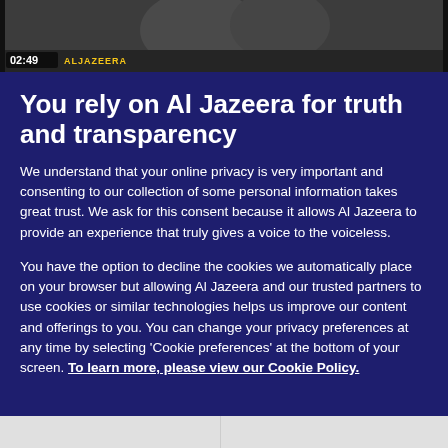[Figure (screenshot): Al Jazeera video thumbnail showing timecode 02:49 and ALJAZEERA logo overlay on a dark video frame]
You rely on Al Jazeera for truth and transparency
We understand that your online privacy is very important and consenting to our collection of some personal information takes great trust. We ask for this consent because it allows Al Jazeera to provide an experience that truly gives a voice to the voiceless.
You have the option to decline the cookies we automatically place on your browser but allowing Al Jazeera and our trusted partners to use cookies or similar technologies helps us improve our content and offerings to you. You can change your privacy preferences at any time by selecting 'Cookie preferences' at the bottom of your screen. To learn more, please view our Cookie Policy.